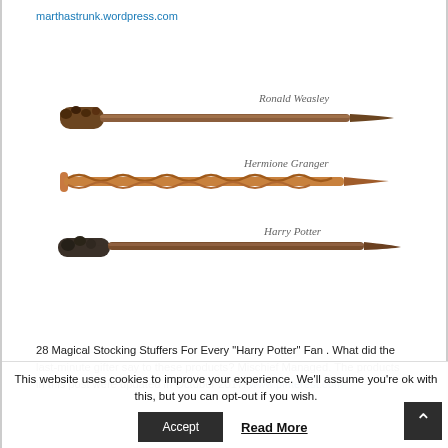marthastrunk.wordpress.com
[Figure (photo): Three Harry Potter wands labeled Ronald Weasley (top), Hermione Granger (middle), and Harry Potter (bottom), on white background with handwritten-style name labels]
28 Magical Stocking Stuffers For Every "Harry Potter" Fan . What did the last-minute gifter say to these products? Mischief Managed. The products in this post were updated in October 2017. www.pinterest.com
This website uses cookies to improve your experience. We'll assume you're ok with this, but you can opt-out if you wish.